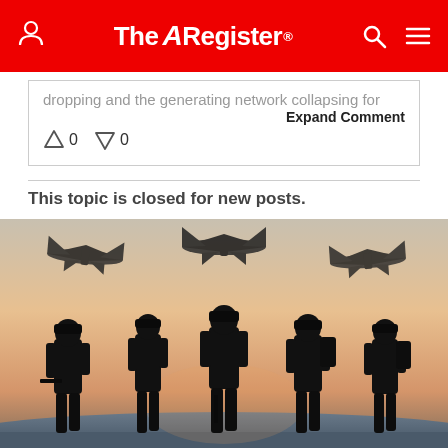The Register
dropping and the generating network collapsing for...
Expand Comment
↑0  ↓0
This topic is closed for new posts.
[Figure (photo): Silhouettes of five soldiers walking with military jets flying overhead against a sunset sky background]